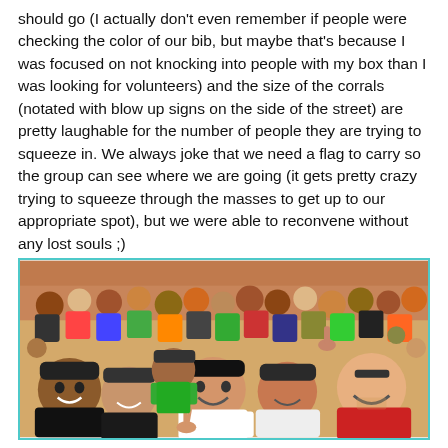should go (I actually don't even remember if people were checking the color of our bib, but maybe that's because I was focused on not knocking into people with my box than I was looking for volunteers) and the size of the corrals (notated with blow up signs on the side of the street) are pretty laughable for the number of people they are trying to squeeze in. We always joke that we need a flag to carry so the group can see where we are going (it gets pretty crazy trying to squeeze through the masses to get up to our appropriate spot), but we were able to reconvene without any lost souls ;)
[Figure (photo): Group selfie photo of a large crowd of runners at a race event, smiling and making hand gestures. Many people are wearing athletic clothing and caps. The background shows a crowded street with more runners.]